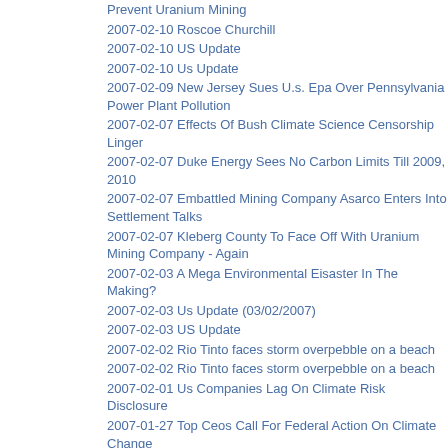Prevent Uranium Mining
2007-02-10 Roscoe Churchill
2007-02-10 US Update
2007-02-10 Us Update
2007-02-09 New Jersey Sues U.s. Epa Over Pennsylvania Power Plant Pollution
2007-02-07 Effects Of Bush Climate Science Censorship Linger
2007-02-07 Duke Energy Sees No Carbon Limits Till 2009, 2010
2007-02-07 Embattled Mining Company Asarco Enters Into Settlement Talks
2007-02-07 Kleberg County To Face Off With Uranium Mining Company - Again
2007-02-03 A Mega Environmental Eisaster In The Making?
2007-02-03 Us Update (03/02/2007)
2007-02-03 US Update
2007-02-02 Rio Tinto faces storm overpebble on a beach
2007-02-02 Rio Tinto faces storm overpebble on a beach
2007-02-01 Us Companies Lag On Climate Risk Disclosure
2007-01-27 Top Ceos Call For Federal Action On Climate Change
2007-01-20 Jewelers urged to boycott new Alaska gold mine
2007-01-18 Return to the Black Mesa
2007-01-18 Return to the Black Mesa